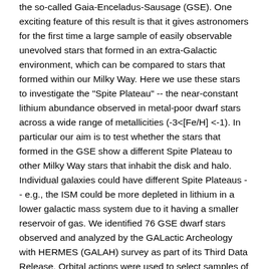the so-called Gaia-Enceladus-Sausage (GSE). One exciting feature of this result is that it gives astronomers for the first time a large sample of easily observable unevolved stars that formed in an extra-Galactic environment, which can be compared to stars that formed within our Milky Way. Here we use these stars to investigate the "Spite Plateau" -- the near-constant lithium abundance observed in metal-poor dwarf stars across a wide range of metallicities (-3<[Fe/H] <-1). In particular our aim is to test whether the stars that formed in the GSE show a different Spite Plateau to other Milky Way stars that inhabit the disk and halo. Individual galaxies could have different Spite Plateaus -- e.g., the ISM could be more depleted in lithium in a lower galactic mass system due to it having a smaller reservoir of gas. We identified 76 GSE dwarf stars observed and analyzed by the GALactic Archeology with HERMES (GALAH) survey as part of its Third Data Release. Orbital actions were used to select samples of Gaia-Enceladus stars, and comparison samples of halo and disk stars. We find that the Gaia-Enceladus stars show the same lithium abundance as other likely accreted stars and in situ Milky Way stars, strongly suggesting that the "lithium problem" is not a consequence of the formation environment. This result fits within the growing consensus that the Spite Plateau, and more generally the "cosmological lithium problem" -- the observed discrepancy between